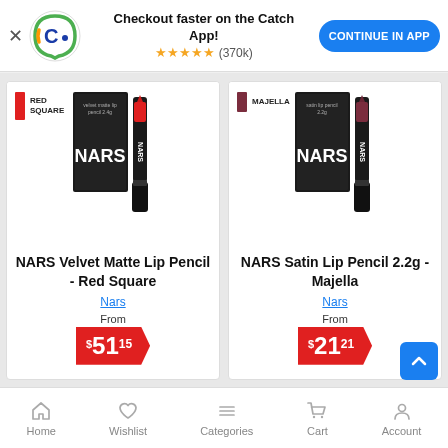[Figure (screenshot): Catch app banner with logo, headline 'Checkout faster on the Catch App!', 5-star rating (370k), and blue 'CONTINUE IN APP' button]
[Figure (photo): NARS Velvet Matte Lip Pencil - Red Square product image showing black pencil packaging and red lip pencil]
NARS Velvet Matte Lip Pencil - Red Square
Nars
From
$51.15
[Figure (photo): NARS Satin Lip Pencil 2.2g - Majella product image showing black pencil packaging and dark red lip pencil]
NARS Satin Lip Pencil 2.2g - Majella
Nars
From
$21.21
Home  Wishlist  Categories  Cart  Account